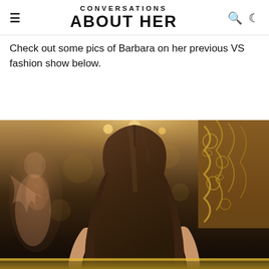CONVERSATIONS ABOUT HER
Check out some pics of Barbara on her previous VS fashion show below.
[Figure (photo): Barbara Palvin walking the Victoria's Secret runway wearing an orange bow/scarf and a silver/gold embellished bralette top, with long brunette hair, a blurred background model and ornate gold decor visible behind her.]